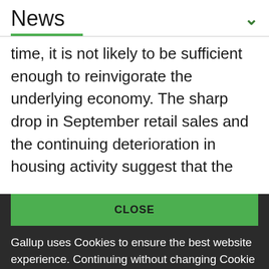News
time, it is not likely to be sufficient enough to reinvigorate the underlying economy. The sharp drop in September retail sales and the continuing deterioration in housing activity suggest that the
CLOSE
Gallup uses Cookies to ensure the best website experience. Continuing without changing Cookie settings assumes you consent to our use of cookies on this device. You can change this setting at any time, but that may impair functionality on our websites.
Privacy Statement   Site Terms of Use and Sale
Product Terms of Use   Adjust your cookie settings.